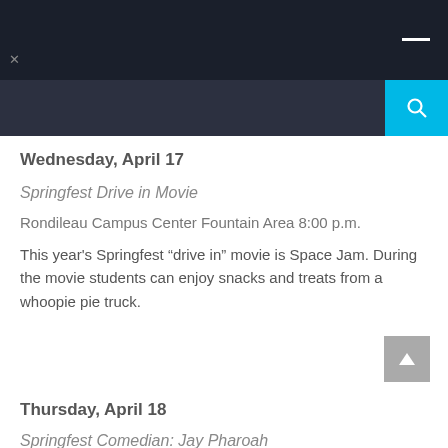[Figure (screenshot): Dark navigation bar with hamburger menu icon on the right]
[Figure (screenshot): Dark search bar with cyan search button on the right]
Wednesday, April 17
Springfest Drive in Movie
Rondileau Campus Center Fountain Area 8:00 p.m.
This year's Springfest “drive in” movie is Space Jam. During the movie students can enjoy snacks and treats from a whoopie pie truck.
Thursday, April 18
Springfest Comedian: Jay Pharoah